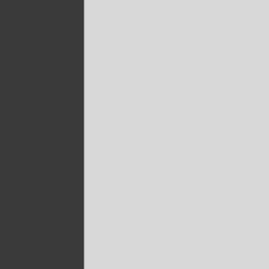In addition to the underlying leveraged-credit market experiencing volatility itself, section 941 of Dodd–Frank, risk in their portfolios. Anticipated deal flow by year-end 2014, which equaled 187 dea...
While the risk-retention requirement... forward, investors should determine... requirement as part of their d...
Fridson and Travers approach... their talks suggested that th... accommodative credit won't... leveraged-credit investors, re...
Under the circumstances, t... prior default surges — is pr...
Market Analytics
TECHNICALS & MARKET ANA...
BUYBACKS - Take out Buyl... Nowhere!